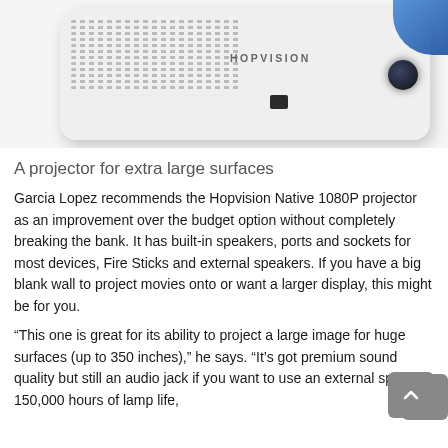[Figure (photo): Photo of the underside/back of the Hopvision projector, white body with ventilation grilles, the brand name HOPVISION visible, a dark lens port, and a blue accent piece in the upper right corner.]
A projector for extra large surfaces
Garcia Lopez recommends the Hopvision Native 1080P projector as an improvement over the budget option without completely breaking the bank. It has built-in speakers, ports and sockets for most devices, Fire Sticks and external speakers. If you have a big blank wall to project movies onto or want a larger display, this might be for you.
“This one is great for its ability to project a large image for huge surfaces (up to 350 inches),” he says. “It’s got premium sound quality but still an audio jack if you want to use an external speaker, 150,000 hours of lamp life,